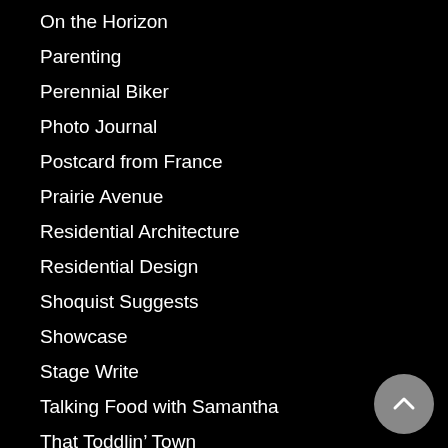On the Horizon
Parenting
Perennial Biker
Photo Journal
Postcard from France
Prairie Avenue
Residential Architecture
Residential Design
Shoquist Suggests
Showcase
Stage Write
Talking Food with Samantha
That Toddlin’ Town
The Best Revenge
The Classicist
The Edit
The Getaway
The Insightful Traveler